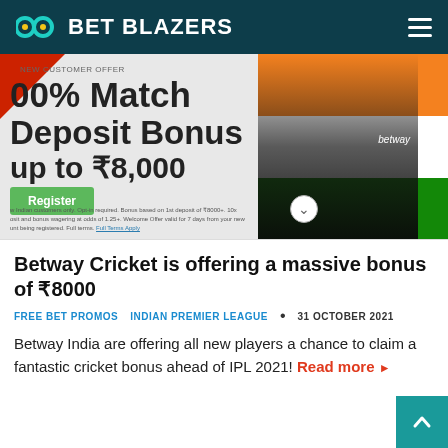BET BLAZERS
[Figure (screenshot): Betway cricket promotional banner showing 100% Match Deposit Bonus up to ₹8,000 with a person wearing a Betway shirt against an Indian flag background, with a green Register button and terms fine print.]
Betway Cricket is offering a massive bonus of ₹8000
FREE BET PROMOS   INDIAN PREMIER LEAGUE   • 31 OCTOBER 2021
Betway India are offering all new players a chance to claim a fantastic cricket bonus ahead of IPL 2021! Read more ▶